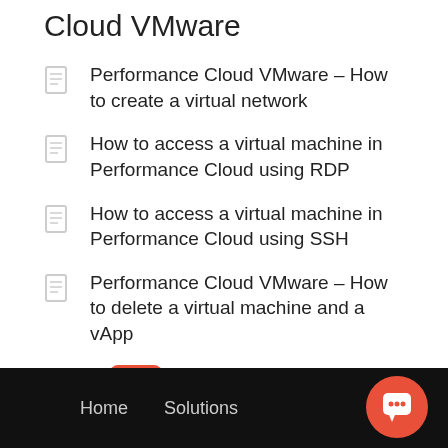Cloud VMware
Performance Cloud VMware – How to create a virtual network
How to access a virtual machine in Performance Cloud using RDP
How to access a virtual machine in Performance Cloud using SSH
Performance Cloud VMware – How to delete a virtual machine and a vApp
[Figure (illustration): Ticket icon (orange/red diamond shape) and orange pulse/activity icon button]
Home   Solutions